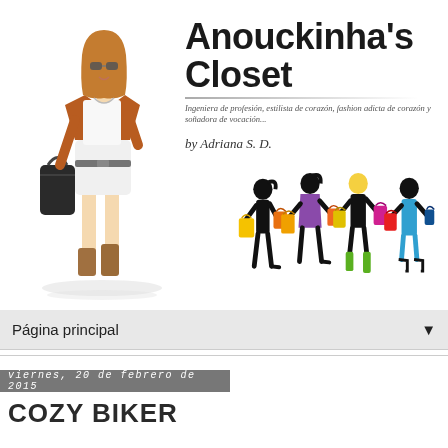[Figure (illustration): Blog header banner for Anouckinha's Closet fashion blog. Left side shows an illustrated fashion woman in brown jacket, white shorts and boots carrying a bag. Center-right shows the blog title 'Anouckinha's Closet' in large bold text with tagline in Spanish and 'by Adriana S.D.' Below right shows colorful illustration of four silhouette women shopping with colorful bags.]
Página principal
viernes, 20 de febrero de 2015
COZY BIKER